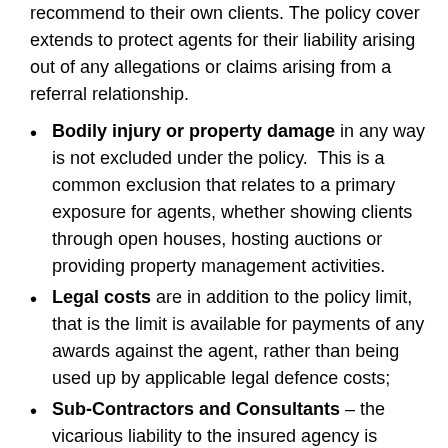recommend to their own clients. The policy cover extends to protect agents for their liability arising out of any allegations or claims arising from a referral relationship.
Bodily injury or property damage in any way is not excluded under the policy. This is a common exclusion that relates to a primary exposure for agents, whether showing clients through open houses, hosting auctions or providing property management activities.
Legal costs are in addition to the policy limit, that is the limit is available for payments of any awards against the agent, rather than being used up by applicable legal defence costs;
Sub-Contractors and Consultants – the vicarious liability to the insured agency is covered for the actions of any sub-contractors